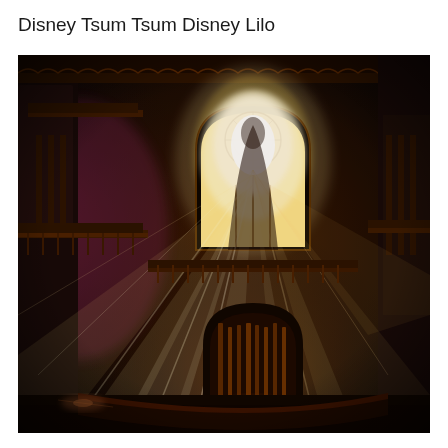Disney Tsum Tsum Disney Lilo
[Figure (photo): Dark, atmospheric interior of a grand gothic cathedral or theater. A large ornate arched stained-glass window at center-back emits brilliant rays of golden-white light streaming down dramatically. The interior features dark wood and iron balconies, ornate decorative carvings, and railing structures. Below the window is a shadowed arch with vertical bars resembling organ pipes. The lower portion shows a curved balcony floor. Purple-pink hues glow from the left side, and warm amber tones dominate the right. The overall mood is dramatic and cinematic.]